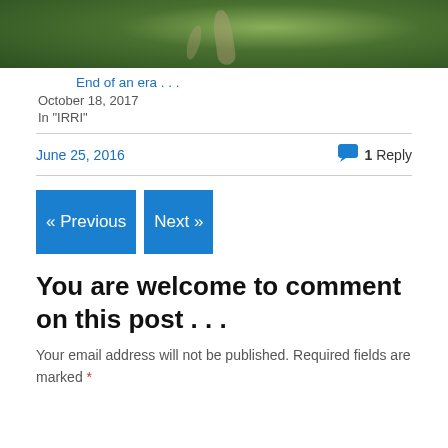[Figure (photo): Aerial or hillside view of a winding road through green tropical vegetation and terraced landscape]
End of an era . . .
October 18, 2017
In "IRRI"
June 25, 2016
1 Reply
« Previous
Next »
You are welcome to comment on this post . . .
Your email address will not be published. Required fields are marked *